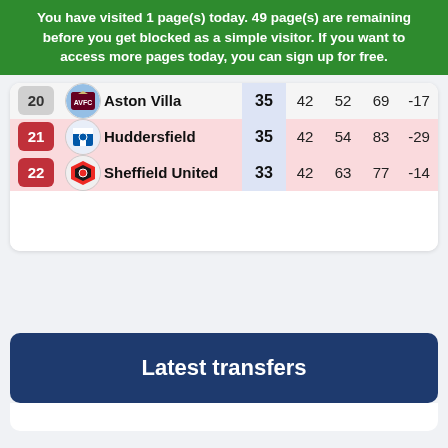You have visited 1 page(s) today. 49 page(s) are remaining before you get blocked as a simple visitor. If you want to access more pages today, you can sign up for free.
| # |  | Team | Pts | MP | GF | GA | GD |
| --- | --- | --- | --- | --- | --- | --- | --- |
| 20 | AVFC | Aston Villa | 35 | 42 | 52 | 69 | -17 |
| 21 |  | Huddersfield | 35 | 42 | 54 | 83 | -29 |
| 22 |  | Sheffield United | 33 | 42 | 63 | 77 | -14 |
Latest transfers